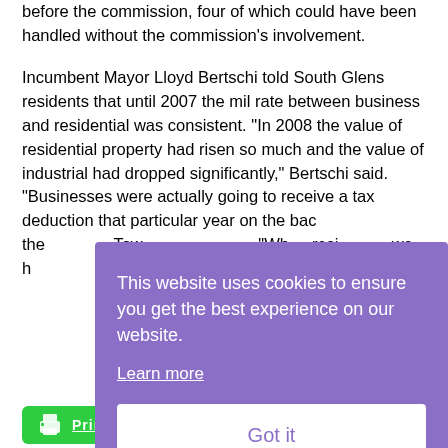before the commission, four of which could have been handled without the commission's involvement.
Incumbent Mayor Lloyd Bertschi told South Glens residents that until 2007 the mil rate between business and residential was consistent. "In 2008 the value of residential property had risen so much and the value of industrial had dropped significantly," Bertschi said. "Businesses were actually going to receive a tax deduction that particular year on the bac[k of...] the [...] Tow[n...] "Wh[en...] resi[dential...] we [...]
[Figure (screenshot): Cookie consent overlay with purple background. Text reads: 'This website uses cookies to ensure you get the best experience on our website.' with a 'Learn more' link and a 'Got it' button.]
[Figure (other): Green Print to PDF button at bottom left.]